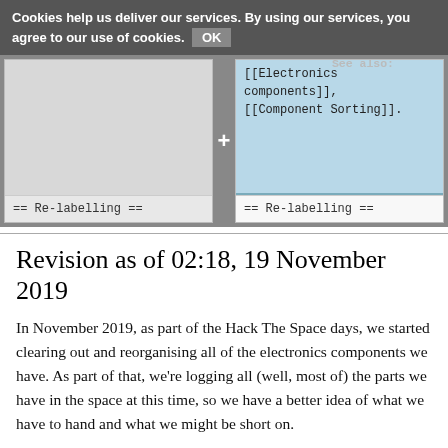Cookies help us deliver our services. By using our services, you agree to our use of cookies. OK
[Figure (screenshot): Wikipedia diff view showing two columns. Left column is blank/gray with '== Re-labelling ==' at the bottom. Right column shows a highlighted addition of 'See also:' with wikitext '[[Electronics components]], [[Component Sorting]].' followed by '== Re-labelling ==' at the bottom. A '+' symbol appears between the columns.]
Revision as of 02:18, 19 November 2019
In November 2019, as part of the Hack The Space days, we started clearing out and reorganising all of the electronics components we have. As part of that, we're logging all (well, most of) the parts we have in the space at this time, so we have a better idea of what we have to hand and what we might be short on.